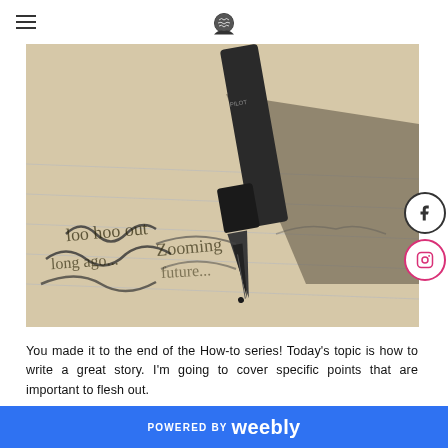[hamburger menu] [brain logo]
[Figure (photo): Close-up photo of a fountain pen nib writing cursive text on lined paper]
You made it to the end of the How-to series! Today’s topic is how to write a great story. I’m going to cover specific points that are important to flesh out.
POWERED BY weebly